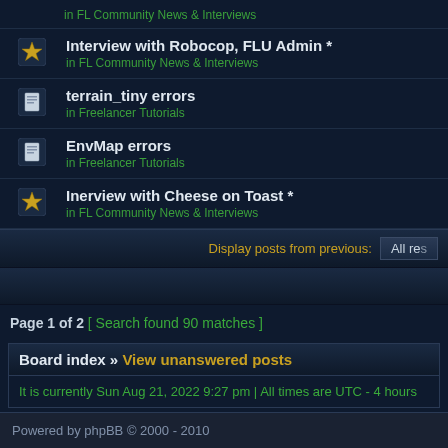Interview with Robocop, FLU Admin * in FL Community News & Interviews
terrain_tiny errors in Freelancer Tutorials
EnvMap errors in Freelancer Tutorials
Inerview with Cheese on Toast * in FL Community News & Interviews
Display posts from previous: All res
Page 1 of 2 [ Search found 90 matches ]
Board index » View unanswered posts
It is currently Sun Aug 21, 2022 9:27 pm | All times are UTC - 4 hours
Powered by phpBB © 2000 - 2010